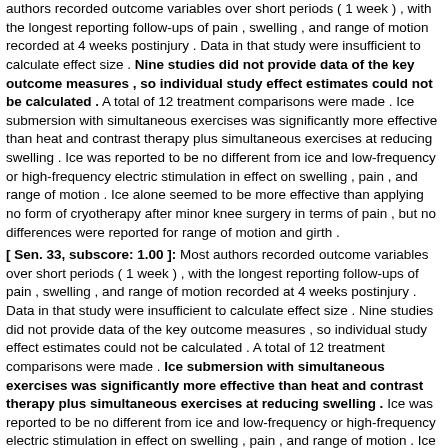authors recorded outcome variables over short periods ( 1 week ) , with the longest reporting follow-ups of pain , swelling , and range of motion recorded at 4 weeks postinjury . Data in that study were insufficient to calculate effect size . Nine studies did not provide data of the key outcome measures , so individual study effect estimates could not be calculated . A total of 12 treatment comparisons were made . Ice submersion with simultaneous exercises was significantly more effective than heat and contrast therapy plus simultaneous exercises at reducing swelling . Ice was reported to be no different from ice and low-frequency or high-frequency electric stimulation in effect on swelling , pain , and range of motion . Ice alone seemed to be more effective than applying no form of cryotherapy after minor knee surgery in terms of pain , but no differences were reported for range of motion and girth .
[ Sen. 33, subscore: 1.00 ]: Most authors recorded outcome variables over short periods ( 1 week ) , with the longest reporting follow-ups of pain , swelling , and range of motion recorded at 4 weeks postinjury . Data in that study were insufficient to calculate effect size . Nine studies did not provide data of the key outcome measures , so individual study effect estimates could not be calculated . A total of 12 treatment comparisons were made . Ice submersion with simultaneous exercises was significantly more effective than heat and contrast therapy plus simultaneous exercises at reducing swelling . Ice was reported to be no different from ice and low-frequency or high-frequency electric stimulation in effect on swelling , pain , and range of motion . Ice alone seemed to be more effective than applying no form of cryotherapy after minor knee surgery in terms of pain , but no differences were reported for range of motion and girth . Continuous cryotherapy was associated with a significantly greater decrease in pain and wrist circumference after surgery than intermittent cryotherapy . Evidence was marginal that a single simultaneous treatment with ice and compression is no more effective than no cryotherapy after an ankle sprain